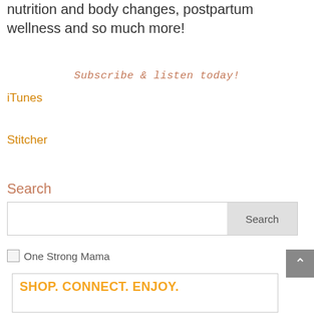nutrition and body changes, postpartum wellness and so much more!
Subscribe & listen today!
iTunes
Stitcher
Search
[Figure (screenshot): Search input box with a Search button on the right]
[Figure (screenshot): Broken image placeholder labeled 'One Strong Mama']
[Figure (screenshot): Advertisement banner reading 'SHOP. CONNECT. ENJOY.' with product images below]